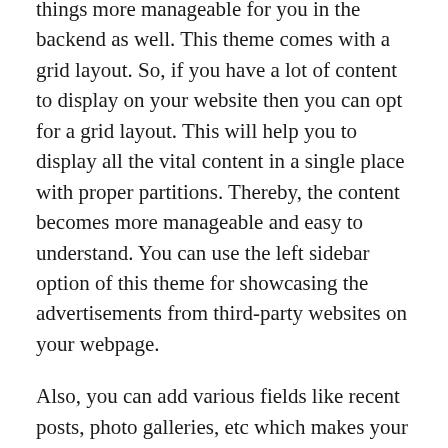things more manageable for you in the backend as well. This theme comes with a grid layout. So, if you have a lot of content to display on your website then you can opt for a grid layout. This will help you to display all the vital content in a single place with proper partitions. Thereby, the content becomes more manageable and easy to understand. You can use the left sidebar option of this theme for showcasing the advertisements from third-party websites on your webpage.
Also, you can add various fields like recent posts, photo galleries, etc which makes your website more engaging. This theme has built-in support for microformats. It helps you to create meta-content which can be read as well as understood by machines. You can use them to enrich your content and make it more searchable.